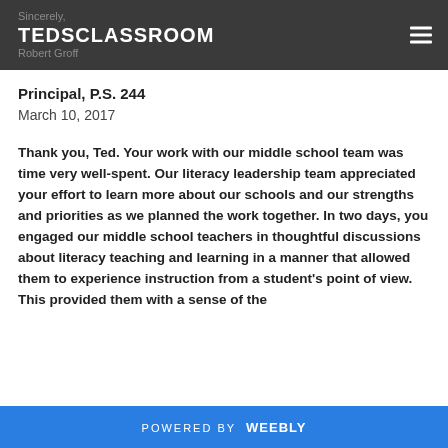Sincerely
TEDSCLASSROOM
Robert Groff
Principal, P.S. 244
March 10, 2017
Thank you, Ted.  Your work with our middle school team was time very well-spent.  Our literacy leadership team appreciated your effort to learn more about our schools and our strengths and priorities as we planned the work together.  In two days, you engaged our middle school teachers in thoughtful discussions about literacy teaching and learning in a manner that allowed them to experience instruction from a student's point of view.  This provided them with a sense of the
POWERED BY weebly